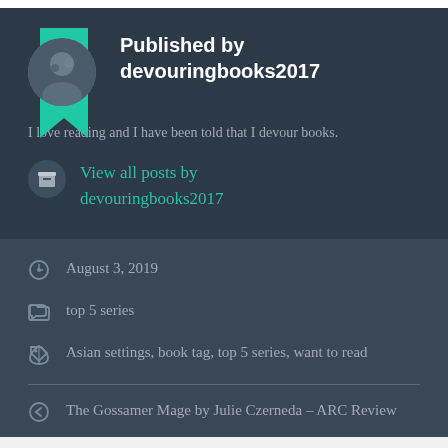Published by devouringbooks2017
I love reading and I have been told that I devour books.
View all posts by devouringbooks2017
August 3, 2019
top 5 series
Asian settings, book tag, top 5 series, want to read
The Gossamer Mage by Julie Czerneda – ARC Review